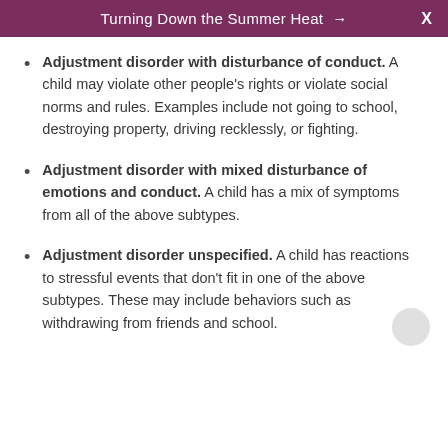Turning Down the Summer Heat → X
Adjustment disorder with disturbance of conduct. A child may violate other people's rights or violate social norms and rules. Examples include not going to school, destroying property, driving recklessly, or fighting.
Adjustment disorder with mixed disturbance of emotions and conduct. A child has a mix of symptoms from all of the above subtypes.
Adjustment disorder unspecified. A child has reactions to stressful events that don't fit in one of the above subtypes. These may include behaviors such as withdrawing from friends and school.